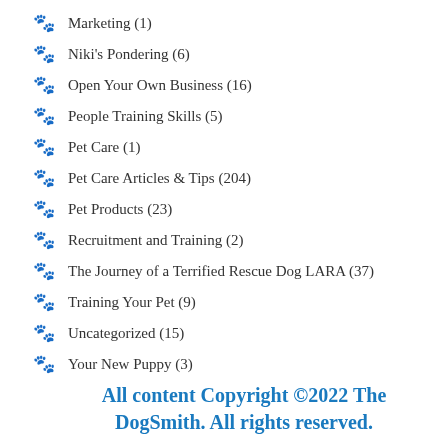Marketing (1)
Niki's Pondering (6)
Open Your Own Business (16)
People Training Skills (5)
Pet Care (1)
Pet Care Articles & Tips (204)
Pet Products (23)
Recruitment and Training (2)
The Journey of a Terrified Rescue Dog LARA (37)
Training Your Pet (9)
Uncategorized (15)
Your New Puppy (3)
All content Copyright ©2022 The DogSmith. All rights reserved.